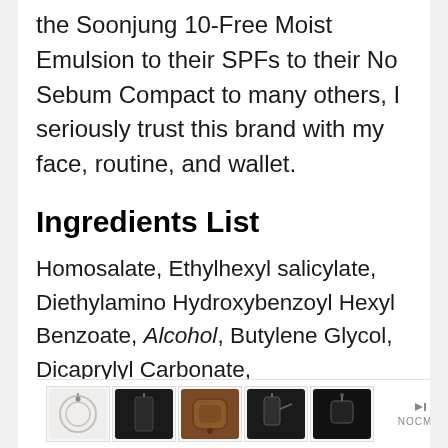the Soonjung 10-Free Moist Emulsion to their SPFs to their No Sebum Compact to many others, I seriously trust this brand with my face, routine, and wallet.
Ingredients List
Homosalate, Ethylhexyl salicylate, Diethylamino Hydroxybenzoyl Hexyl Benzoate, Alcohol, Butylene Glycol, Dicaprylyl Carbonate, Cyclopentasiloxane, Octocrylene,
[Figure (other): Advertisement banner with product images (accessories/phone cases) and a NOCME label with skip ad controls]